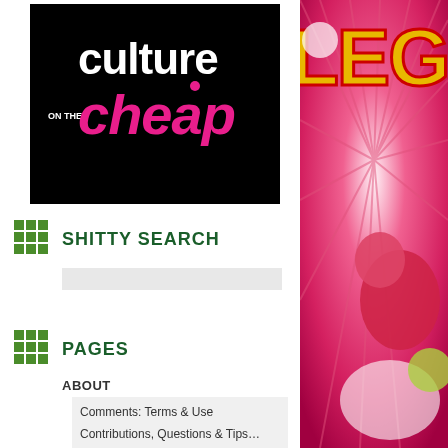[Figure (logo): Culture on the Cheap logo — black background with white text 'culture' and pink/magenta text 'cheap' with 'ON THE' in small white text on the left side]
[Figure (illustration): Colorful cartoon/animated image on right side with pink/magenta radial burst background, appears to be a video game or cartoon character promotional image with text 'LEG' visible at top]
SHITTY SEARCH
PAGES
ABOUT
Comments: Terms & Use
Contributions, Questions & Tips… Send Me Your Shit!
My Web Nanny Doesn't Like